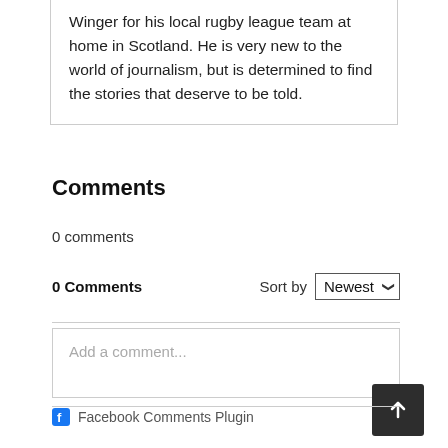Winger for his local rugby league team at home in Scotland. He is very new to the world of journalism, but is determined to find the stories that deserve to be told.
Comments
0 comments
0 Comments  Sort by  Newest
Add a comment...
Facebook Comments Plugin